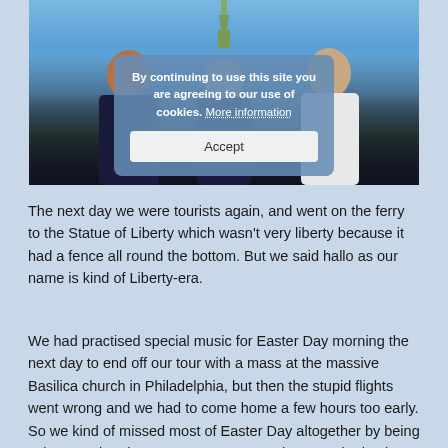[Figure (photo): Photo of three boys in dark choir robes and blue ties standing outdoors with the Statue of Liberty visible in the background against a blue sky. A cookie consent overlay appears over the photo with text 'By continuing to use this site you are agreeing to our use of cookies. More information' and an Accept button.]
The next day we were tourists again, and went on the ferry to the Statue of Liberty which wasn't very liberty because it had a fence all round the bottom. But we said hallo as our name is kind of Liberty-era.
We had practised special music for Easter Day morning the next day to end off our tour with a mass at the massive Basilica church in Philadelphia, but then the stupid flights went wrong and we had to come home a few hours too early. So we kind of missed most of Easter Day altogether by being asleep on the plane. But soon we were happy to be back home in the cold and rain and we thought back to the sunny time we had had – except we